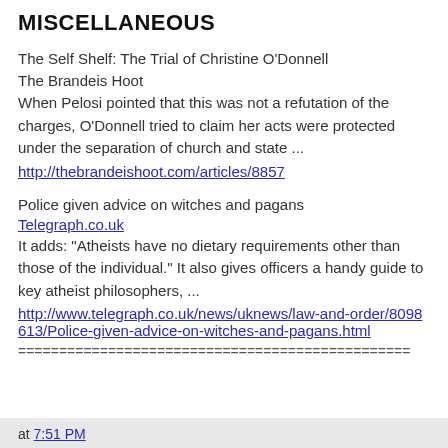MISCELLANEOUS
The Self Shelf: The Trial of Christine O'Donnell
The Brandeis Hoot
When Pelosi pointed that this was not a refutation of the charges, O'Donnell tried to claim her acts were protected under the separation of church and state ...
http://thebrandeishoot.com/articles/8857
Police given advice on witches and pagans
Telegraph.co.uk
It adds: "Atheists have no dietary requirements other than those of the individual." It also gives officers a handy guide to key atheist philosophers, ...
http://www.telegraph.co.uk/news/uknews/law-and-order/8098613/Police-given-advice-on-witches-and-pagans.html
================================================
at 7:51 PM